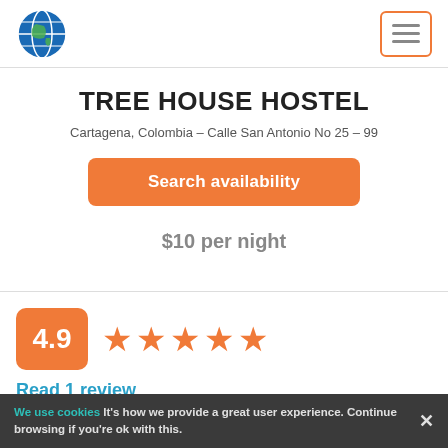Globe icon and hamburger menu
TREE HOUSE HOSTEL
Cartagena, Colombia - Calle San Antonio No 25 - 99
Search availability
$10 per night
[Figure (infographic): Rating block showing 4.9 out of 5 with 5 orange stars]
Read 1 review
Remarkably clean
Perfectly safe
We use cookies It's how we provide a great user experience. Continue browsing if you're ok with this.